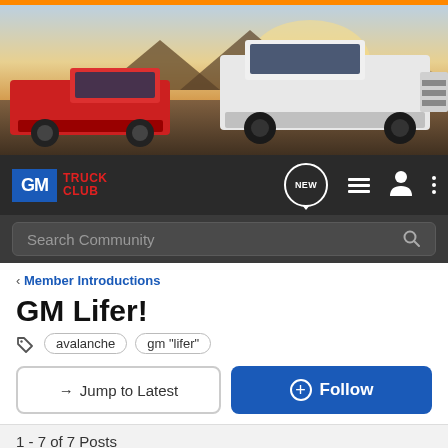[Figure (photo): Banner image showing two trucks (red and white/silver) on rocky terrain with mountains and sunset in the background]
[Figure (logo): GM Truck Club logo with blue GM box and red TRUCK CLUB text, with navigation icons: NEW chat bubble, hamburger menu, person icon, three vertical dots]
Search Community
< Member Introductions
GM Lifer!
avalanche   gm "lifer"
→ Jump to Latest
+ Follow
1 - 7 of 7 Posts
DustInTheWindAZ · Registered 🇺🇸